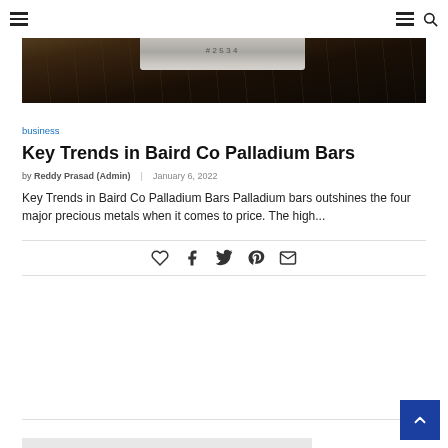Navigation bar with hamburger menu and search icon
[Figure (photo): Palladium bar on rocky/earthy background, close-up photo with stamp or number visible on the bar]
business
Key Trends in Baird Co Palladium Bars
by Reddy Prasad (Admin) | January 6, 2022
Key Trends in Baird Co Palladium Bars Palladium bars outshines the four major precious metals when it comes to price. The high...